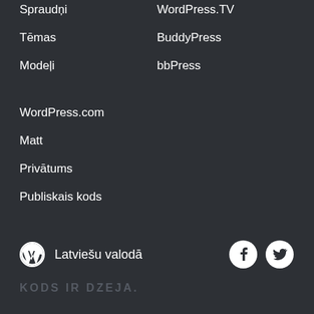Spraudņi
WordPress.TV
Tēmas
BuddyPress
Modeļi
bbPress
WordPress.com
Matt
Privātums
Publiskais kods
Latviešu valodā  KODS IR DZEJA.